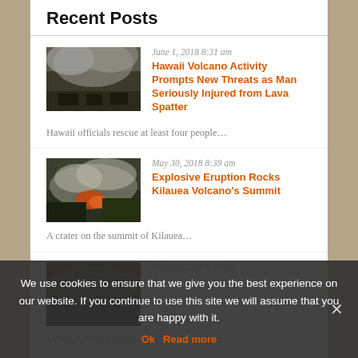Recent Posts
[Figure (photo): Dark smoke rising over a road with cars and people visible — Hawaii volcano scene]
June 1, 2018 8:31 am
Hawaii Volcano Activity Prompts New Threats as Man Seriously Injured from Lava Spatter
Hawaii officials rescue at least four people…
[Figure (photo): Lava and smoke from Kilauea eruption, red glow visible near treeline]
May 30, 2018 8:39 am
Explosive Eruption Rocks Kilauea Volcano's Summit
A crater on the summit of Kilauea…
[Figure (photo): Dark partially obscured image of volcano scene]
May 28, 2018 8:30 am
VOLCANO, Hawaii — The Latest on the…
We use cookies to ensure that we give you the best experience on our website. If you continue to use this site we will assume that you are happy with it.